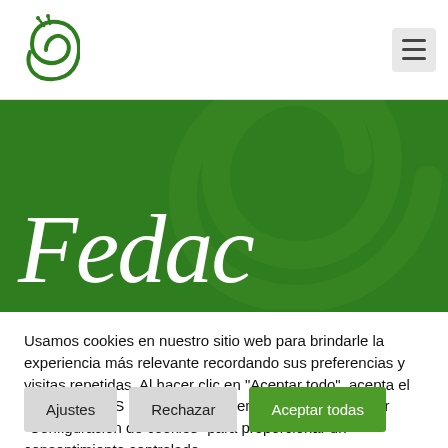[Figure (logo): Green spiral snail logo in the top-left header area]
[Figure (logo): Hamburger menu icon (three horizontal lines) in a light grey rounded square, top-right header area]
[Figure (illustration): Dark green hero banner with large white italic 'Fedac' text and decorative swirl pattern in background]
Usamos cookies en nuestro sitio web para brindarle la experiencia más relevante recordando sus preferencias y visitas repetidas. Al hacer clic en "Aceptar todo", acepta el uso de TODAS las cookies. Sin embargo, puede visitar "Configuración de cookies" para proporcionar un consentimiento controlado.
Ajustes
Rechazar
Aceptar todas